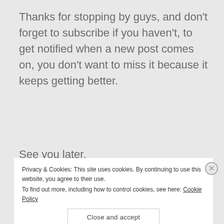Thanks for stopping by guys, and don’t forget to subscribe if you haven’t, to get notified when a new post comes on, you don’t want to miss it because it keeps getting better.
See you later.
Gracedmelanin,
Nkechi.
Privacy & Cookies: This site uses cookies. By continuing to use this website, you agree to their use.
To find out more, including how to control cookies, see here: Cookie Policy
Close and accept